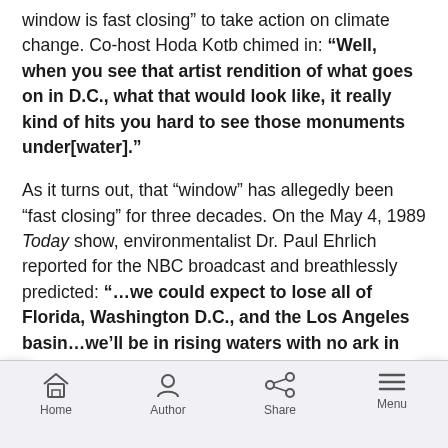window is fast closing” to take action on climate change. Co-host Hoda Kotb chimed in: “Well, when you see that artist rendition of what goes on in D.C., what that would look like, it really kind of hits you hard to see those monuments under[water].”
As it turns out, that “window” has allegedly been “fast closing” for three decades. On the May 4, 1989 Today show, environmentalist Dr. Paul Ehrlich reported for the NBC broadcast and breathlessly predicted: “…we could expect to lose all of Florida, Washington D.C., and the Los Angeles basin…we’ll be in rising waters with no ark in sight.”
Home | Author | Share | Menu